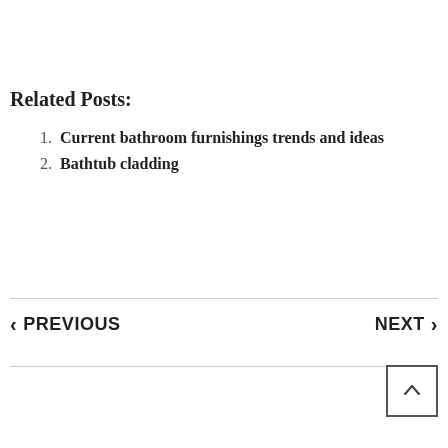Related Posts:
1. Current bathroom furnishings trends and ideas
2. Bathtub cladding
< PREVIOUS    NEXT >